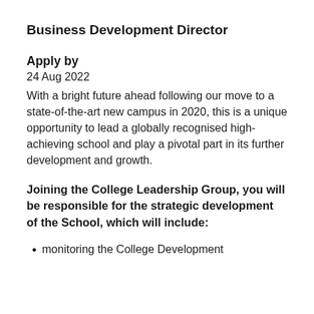Business Development Director
Apply by
24 Aug 2022
With a bright future ahead following our move to a state-of-the-art new campus in 2020, this is a unique opportunity to lead a globally recognised high-achieving school and play a pivotal part in its further development and growth.
Joining the College Leadership Group, you will be responsible for the strategic development of the School, which will include:
monitoring the College Development